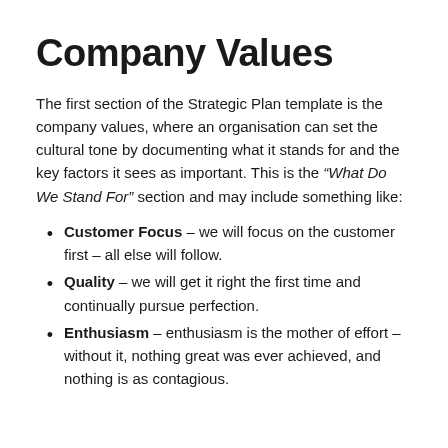Company Values
The first section of the Strategic Plan template is the company values, where an organisation can set the cultural tone by documenting what it stands for and the key factors it sees as important. This is the “What Do We Stand For” section and may include something like:
Customer Focus – we will focus on the customer first – all else will follow.
Quality – we will get it right the first time and continually pursue perfection.
Enthusiasm – enthusiasm is the mother of effort – without it, nothing great was ever achieved, and nothing is as contagious.